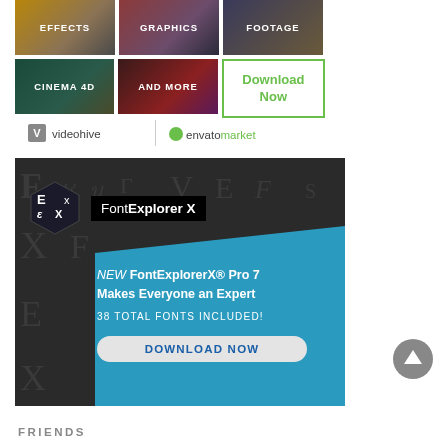[Figure (screenshot): Grid of category buttons: EFFECTS, GRAPHICS, FOOTAGE in top row; CINEMA 4D, AND MORE, Download Now in second row]
[Figure (logo): Videohive and Envato Market logos side by side with divider]
[Figure (screenshot): FontExplorer X advertisement: NEW FontExplorerX Pro 7 Makes Everyone an Expert, 38 TOTAL FONTS INCLUDED!, DOWNLOAD NOW button]
[Figure (other): Scroll up circular button with arrow]
FRIENDS